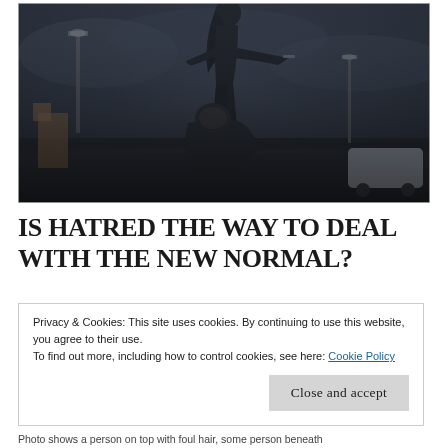[Figure (photo): Dark dramatic scene showing two figures in black clothing — one standing above the other in a confrontational pose, set against a moody grey stormy sky with street lights and a car visible in the background.]
IS HATRED THE WAY TO DEAL WITH THE NEW NORMAL?
Privacy & Cookies: This site uses cookies. By continuing to use this website, you agree to their use.
To find out more, including how to control cookies, see here: Cookie Policy
Close and accept
Photo shows a person on top with foul hair, some person beneath